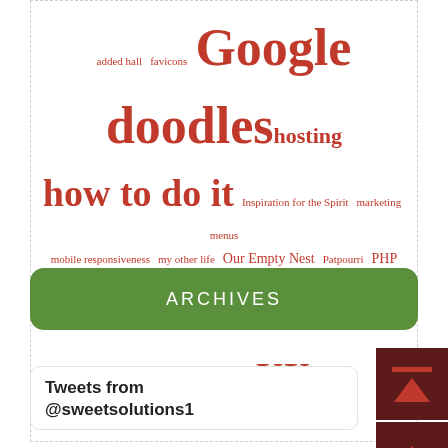[Figure (infographic): Tag cloud with words of varying sizes in red: added hall, favicons, Google doodles, hosting, how to do it, Inspiration for the Spirit, marketing, menus, mobile responsiveness, my other life, Our Empty Nest, Patpourri, PHP, Sweet Solutions, taxonomies, the cloud, UX, web design, WordPress]
[Figure (other): Green rounded button with ARCHIVES text]
Tweets from @sweetsolutions1
[Figure (other): Dark red navigation buttons on right side: scroll to top with bar, scroll up, scroll down]